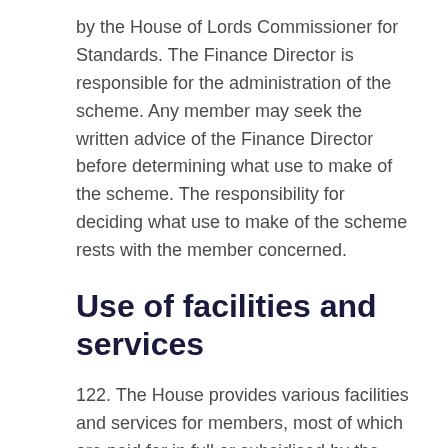by the House of Lords Commissioner for Standards. The Finance Director is responsible for the administration of the scheme. Any member may seek the written advice of the Finance Director before determining what use to make of the scheme. The responsibility for deciding what use to make of the scheme rests with the member concerned.
Use of facilities and services
122. The House provides various facilities and services for members, most of which are paid for in full or subsidised by the public purse. These facilities and services are provided primarily to support members in their parliamentary work. The domestic